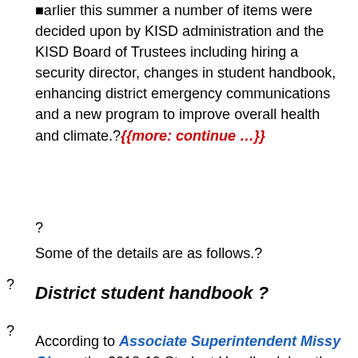earlier this summer a number of items were decided upon by KISD administration and the KISD Board of Trustees including hiring a security director, changes in student handbook, enhancing district emergency communications and a new program to improve overall health and climate.?{{more: continue …}}
?
Some of the details are as follows.?
?
District student handbook ?
?
According to Associate Superintendent Missy Glenn, the 2018-19 Student Handbook has the least amount of changes that she has seen in ?about nine years.? KISD uses the Texas Association of School Board (TASB) model and follow their recommended updates. Updates included policies on students taken into custody; staff absences due to military enlistment, special education